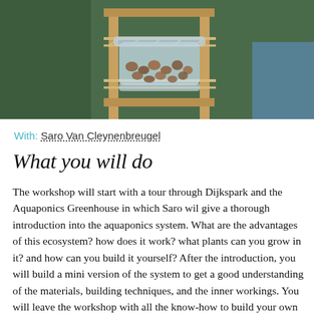[Figure (photo): Photo of a glass jar with clay pebbles/growing medium mounted on a wooden bamboo frame, likely part of an aquaponics demonstration setup. Background shows a person in green clothing and blue containers.]
With: Saro Van Cleynenbreugel
What you will do
The workshop will start with a tour through Dijkspark and the Aquaponics Greenhouse in which Saro wil give a thorough introduction into the aquaponics system. What are the advantages of this ecosystem? how does it work? what plants can you grow in it? and how can you build it yourself?  After the introduction, you will build a mini version of the system to get a good understanding of the materials, building techniques, and the inner workings. You will leave the workshop with all the know-how to build your own aquaponic garden at home, and to start growing plants in a sustainable way! (We are recycling this workshops materials, so you won't take the